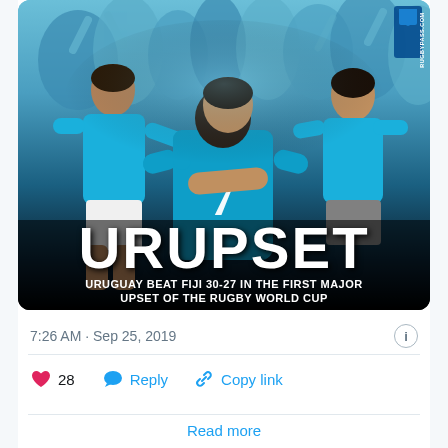[Figure (photo): Rugby World Cup celebration photo: Uruguay players in blue jerseys (#7 visible on back) embracing after victory, crowd celebrating in background. Overlay text reads 'URUPSET' in large white bold letters, with subtext 'URUGUAY BEAT FIJI 30-27 IN THE FIRST MAJOR UPSET OF THE RUGBY WORLD CUP'. RugbyPass.com watermark in top right corner.]
7:26 AM · Sep 25, 2019
28  Reply  Copy link